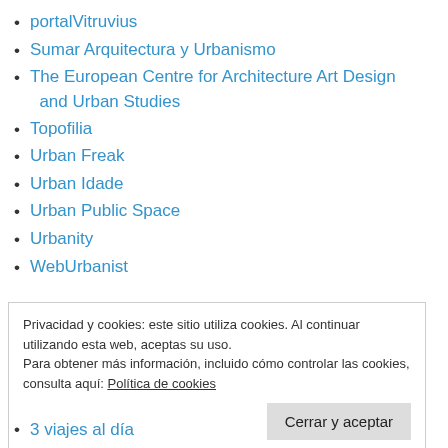portalVitruvius
Sumar Arquitectura y Urbanismo
The European Centre for Architecture Art Design and Urban Studies
Topofilia
Urban Freak
Urban Idade
Urban Public Space
Urbanity
WebUrbanist
Privacidad y cookies: este sitio utiliza cookies. Al continuar utilizando esta web, aceptas su uso.
Para obtener más información, incluido cómo controlar las cookies, consulta aquí: Política de cookies
3 viajes al día